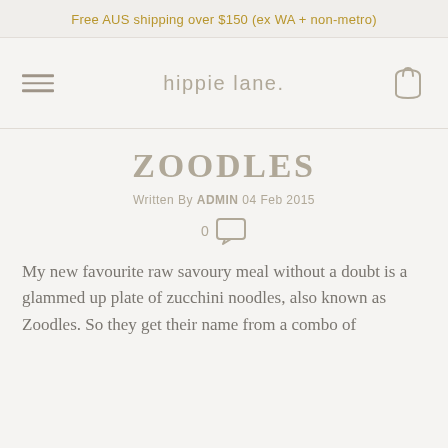Free AUS shipping over $150 (ex WA + non-metro)
ZOODLES
Written By ADMIN 04 Feb 2015
0 [comment icon]
My new favourite raw savoury meal without a doubt is a glammed up plate of zucchini noodles, also known as Zoodles. So they get their name from a combo of